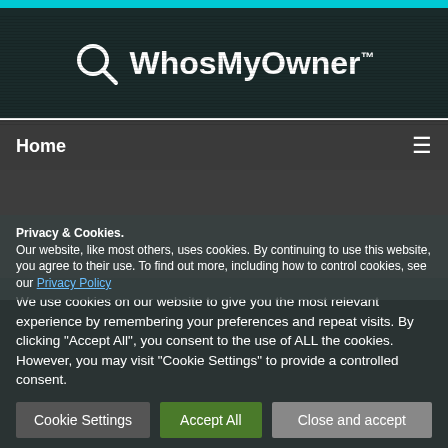WhosMyOwner™
Home
‹ Return to
We use cookies on our website to give you the most relevant experience by remembering your preferences and repeat visits. By clicking "Accept All", you consent to the use of ALL the cookies. However, you may visit "Cookie Settings" to provide a controlled consent.
Privacy & Cookies:
Our website, like most others, uses cookies. By continuing to use this website, you agree to their use. To find out more, including how to control cookies, see our Privacy Policy